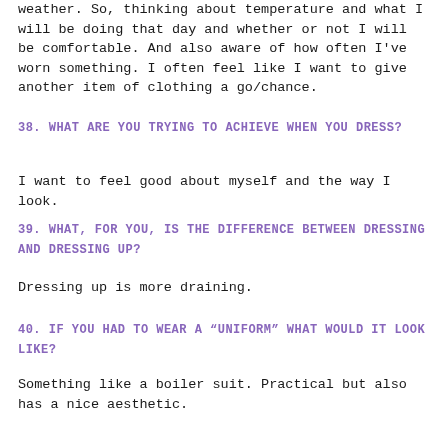weather. So, thinking about temperature and what I will be doing that day and whether or not I will be comfortable. And also aware of how often I've worn something. I often feel like I want to give another item of clothing a go/chance.
38. WHAT ARE YOU TRYING TO ACHIEVE WHEN YOU DRESS?
I want to feel good about myself and the way I look.
39. WHAT, FOR YOU, IS THE DIFFERENCE BETWEEN DRESSING AND DRESSING UP?
Dressing up is more draining.
40. IF YOU HAD TO WEAR A “UNIFORM” WHAT WOULD IT LOOK LIKE?
Something like a boiler suit. Practical but also has a nice aesthetic.